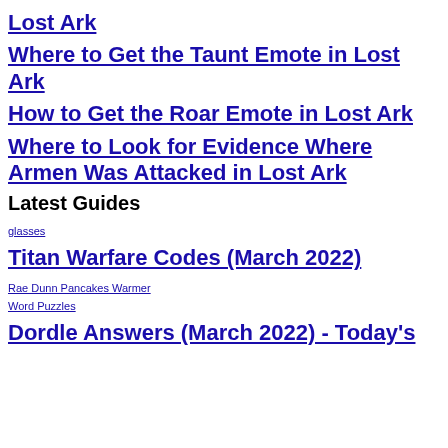Lost Ark
Where to Get the Taunt Emote in Lost Ark
How to Get the Roar Emote in Lost Ark
Where to Look for Evidence Where Armen Was Attacked in Lost Ark
Latest Guides
glasses
Titan Warfare Codes (March 2022)
Rae Dunn Pancakes Warmer
Word Puzzles
Dordle Answers (March 2022) - Today's